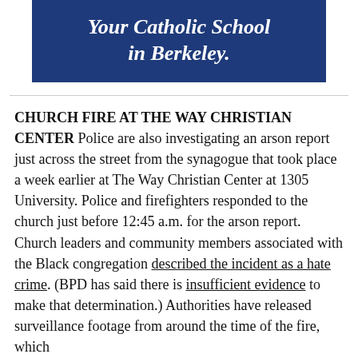[Figure (other): Blue banner with italic bold white text reading 'Your Catholic School in Berkeley.']
CHURCH FIRE AT THE WAY CHRISTIAN CENTER Police are also investigating an arson report just across the street from the synagogue that took place a week earlier at The Way Christian Center at 1305 University. Police and firefighters responded to the church just before 12:45 a.m. for the arson report. Church leaders and community members associated with the Black congregation described the incident as a hate crime. (BPD has said there is insufficient evidence to make that determination.) Authorities have released surveillance footage from around the time of the fire, which